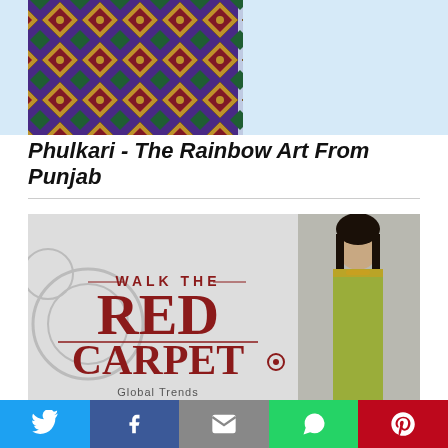[Figure (photo): Colorful Phulkari embroidered fabric with geometric diamond patterns in blue, green, gold, and red on a light blue background]
Phulkari - The Rainbow Art From Punjab
[Figure (photo): Walk The Red Carpet advertisement banner with a woman in a green/gold saree and text 'WALK THE RED CARPET Global Trends']
[Figure (infographic): Social sharing bar with Twitter, Facebook, Email, WhatsApp, and Pinterest buttons]